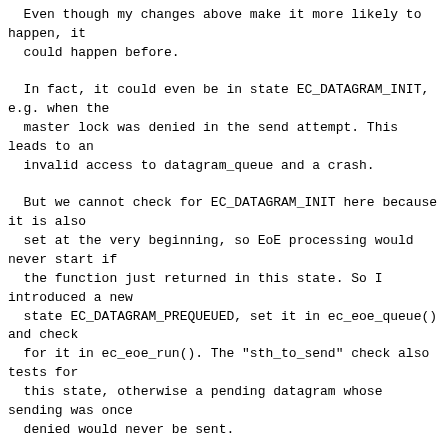Even though my changes above make it more likely to happen, it
  could happen before.

  In fact, it could even be in state EC_DATAGRAM_INIT, e.g. when the
  master lock was denied in the send attempt. This leads to an
  invalid access to datagram_queue and a crash.

  But we cannot check for EC_DATAGRAM_INIT here because it is also
  set at the very beginning, so EoE processing would never start if
  the function just returned in this state. So I introduced a new
  state EC_DATAGRAM_PREQUEUED, set it in ec_eoe_queue() and check
  for it in ec_eoe_run(). The "sth_to_send" check also tests for
  this state, otherwise a pending datagram whose sending was once
  denied would never be sent.

  (15-ethercat-1.5-eoe-prequeue.patch)

- Another major problem I had was frame corruption.
  As master/device.h says:

  * This memory ring is used to transmit frames. It is
- Another major problem I had was frame corruption.
  As master/device.h says:
* This memory ring is used to transmit frames. It is